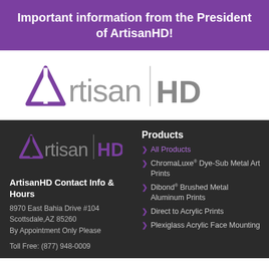Important information from the President of ArtisanHD!
[Figure (logo): ArtisanHD logo with purple triangle/chevron mark, 'Artisan' in gray, vertical bar, 'HD' in gray — on white background]
[Figure (logo): ArtisanHD logo on dark background — purple triangle mark, 'Artisan' in gray, vertical bar, 'HD' in purple]
ArtisanHD Contact Info & Hours
8970 East Bahia Drive #104
Scottsdale,AZ 85260
By Appointment Only Please
Toll Free: (877) 948-0009
Products
All Products
ChromaLuxe® Dye-Sub Metal Art Prints
Dibond® Brushed Metal Aluminum Prints
Direct to Acrylic Prints
Plexiglass Acrylic Face Mounting